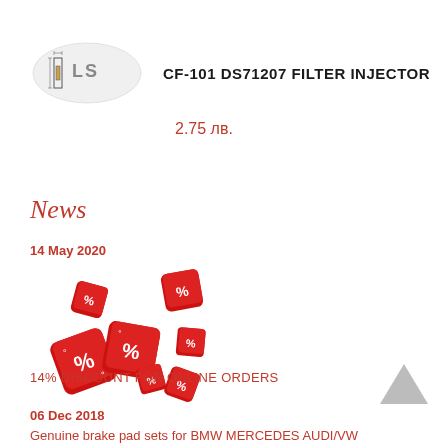[Figure (photo): Product image of CF-101 DS71207 filter injector with logo watermark, showing a small cylindrical part with measurement diagram]
CF-101 DS71207 FILTER INJECTOR
2.75 лв.
News
14 May 2020
[Figure (photo): Red dice with percentage signs scattered on white background, representing discounts]
14% DISCOUNT FOR ONLINE ORDERS
06 Dec 2018
Genuine brake pad sets for BMW MERCEDES AUDI/VW